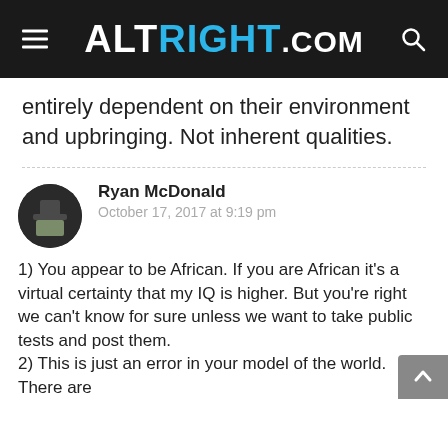ALTRIGHT.COM
entirely dependent on their environment and upbringing. Not inherent qualities.
Ryan McDonald
October 17, 2017 at 9:19 pm
1) You appear to be African. If you are African it's a virtual certainty that my IQ is higher. But you're right we can't know for sure unless we want to take public tests and post them.
2) This is just an error in your model of the world. There are